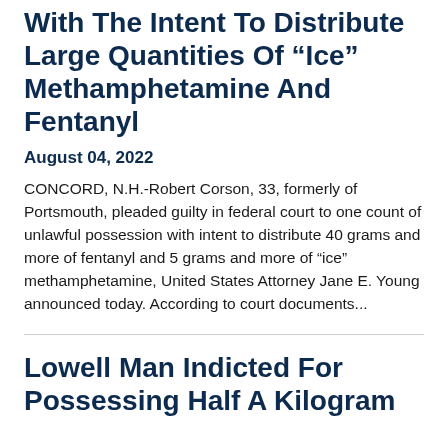With The Intent To Distribute Large Quantities Of “Ice” Methamphetamine And Fentanyl
August 04, 2022
CONCORD, N.H.-Robert Corson, 33, formerly of Portsmouth, pleaded guilty in federal court to one count of unlawful possession with intent to distribute 40 grams and more of fentanyl and 5 grams and more of “ice” methamphetamine, United States Attorney Jane E. Young announced today. According to court documents...
Lowell Man Indicted For Possessing Half A Kilogram